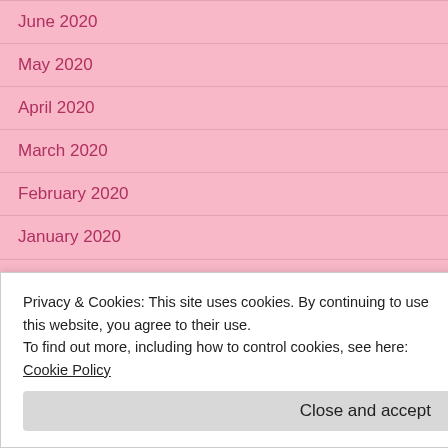June 2020
May 2020
April 2020
March 2020
February 2020
January 2020
December 2019
November 2019
October 2019
September 2019
August 2019
Privacy & Cookies: This site uses cookies. By continuing to use this website, you agree to their use.
To find out more, including how to control cookies, see here: Cookie Policy
Close and accept